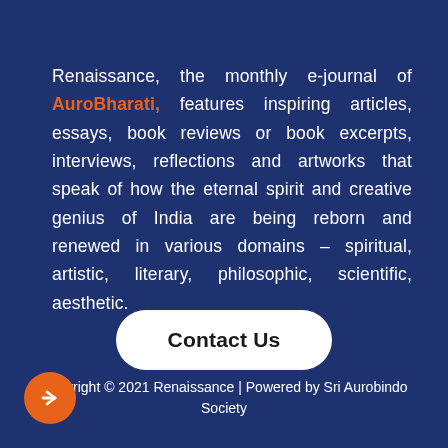Renaissance, the monthly e-journal of AuroBharati, features inspiring articles, essays, book reviews or book excerpts, interviews, reflections and artworks that speak of how the eternal spirit and creative genius of India are being reborn and renewed in various domains – spiritual, artistic, literary, philosophic, scientific, aesthetic.
Contact Us
Copyright © 2021 Renaissance | Powered by Sri Aurobindo Society